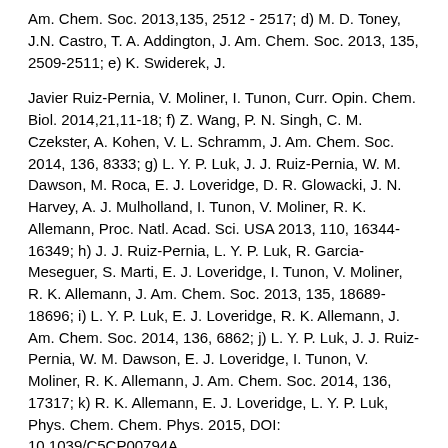Am. Chem. Soc. 2013,135, 2512 - 2517; d) M. D. Toney, J.N. Castro, T. A. Addington, J. Am. Chem. Soc. 2013, 135, 2509-2511; e) K. Swiderek, J.
Javier Ruiz-Pernia, V. Moliner, I. Tunon, Curr. Opin. Chem. Biol. 2014,21,11-18; f) Z. Wang, P. N. Singh, C. M. Czekster, A. Kohen, V. L. Schramm, J. Am. Chem. Soc. 2014, 136, 8333; g) L. Y. P. Luk, J. J. Ruiz-Pernia, W. M. Dawson, M. Roca, E. J. Loveridge, D. R. Glowacki, J. N. Harvey, A. J. Mulholland, I. Tunon, V. Moliner, R. K. Allemann, Proc. Natl. Acad. Sci. USA 2013, 110, 16344-16349; h) J. J. Ruiz-Pernia, L. Y. P. Luk, R. Garcia-Meseguer, S. Marti, E. J. Loveridge, I. Tunon, V. Moliner, R. K. Allemann, J. Am. Chem. Soc. 2013, 135, 18689-18696; i) L. Y. P. Luk, E. J. Loveridge, R. K. Allemann, J. Am. Chem. Soc. 2014, 136, 6862; j) L. Y. P. Luk, J. J. Ruiz-Pernia, W. M. Dawson, E. J. Loveridge, I. Tunon, V. Moliner, R. K. Allemann, J. Am. Chem. Soc. 2014, 136, 17317; k) R. K. Allemann, E. J. Loveridge, L. Y. P. Luk, Phys. Chem. Chem. Phys. 2015, DOI: 10.1039/C5CP00794A.
[2] a) J. Basran, M. J. Sutcliffe, N. S. Scrutton, Biochemistry 1999,38, 3218-3222; b) D. Antoniou, S. Caratzoulas, C. Kalyanaraman, J. S. Mincer, S. D.